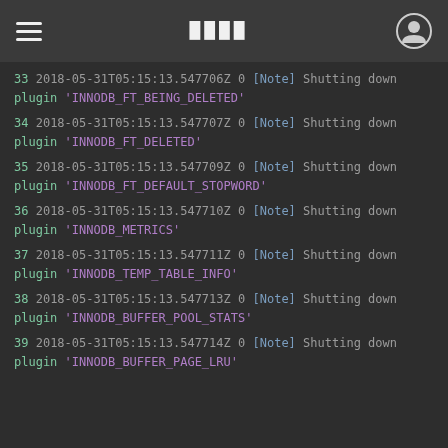≡  ████  👤
33 2018-05-31T05:15:13.547706Z 0 [Note] Shutting down plugin 'INNODB_FT_BEING_DELETED'
34 2018-05-31T05:15:13.547707Z 0 [Note] Shutting down plugin 'INNODB_FT_DELETED'
35 2018-05-31T05:15:13.547709Z 0 [Note] Shutting down plugin 'INNODB_FT_DEFAULT_STOPWORD'
36 2018-05-31T05:15:13.547710Z 0 [Note] Shutting down plugin 'INNODB_METRICS'
37 2018-05-31T05:15:13.547711Z 0 [Note] Shutting down plugin 'INNODB_TEMP_TABLE_INFO'
38 2018-05-31T05:15:13.547713Z 0 [Note] Shutting down plugin 'INNODB_BUFFER_POOL_STATS'
39 2018-05-31T05:15:13.547714Z 0 [Note] Shutting down plugin 'INNODB_BUFFER_PAGE_LRU'